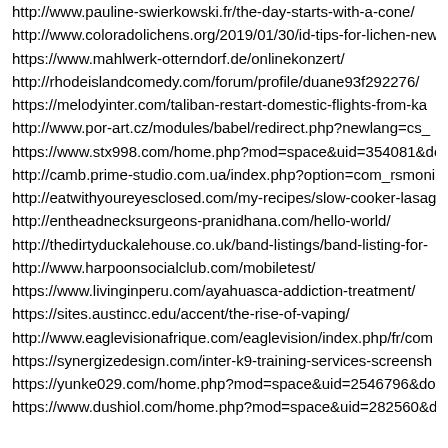http://www.pauline-swierkowski.fr/the-day-starts-with-a-cone/
http://www.coloradolichens.org/2019/01/30/id-tips-for-lichen-new
https://www.mahlwerk-otterndorf.de/onlinekonzert/
http://rhodeislandcomedy.com/forum/profile/duane93f292276/
https://melodyinter.com/taliban-restart-domestic-flights-from-ka
http://www.por-art.cz/modules/babel/redirect.php?newlang=cs_
https://www.stx998.com/home.php?mod=space&uid=354081&do=
http://camb.prime-studio.com.ua/index.php?option=com_rsmonia
http://eatwithyoureyesclosed.com/my-recipes/slow-cooker-lasag
http://entheadnecksurgeons-pranidhana.com/hello-world/
http://thedirtyduckalehouse.co.uk/band-listings/band-listing-for-
http://www.harpoonsocialclub.com/mobiletest/
https://www.livinginperu.com/ayahuasca-addiction-treatment/
https://sites.austincc.edu/accent/the-rise-of-vaping/
http://www.eaglevisionafrique.com/eaglevision/index.php/fr/com
https://synergizedesign.com/inter-k9-training-services-screensh
https://yunke029.com/home.php?mod=space&uid=2546796&do=p
https://www.dushiol.com/home.php?mod=space&uid=282560&do=